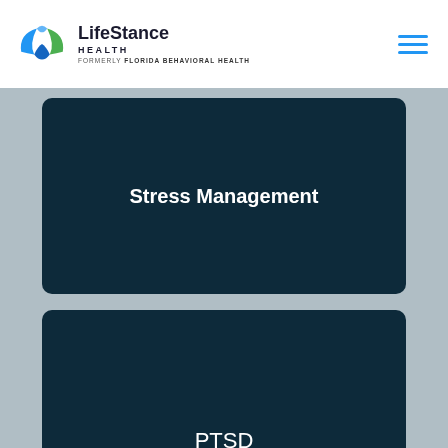[Figure (logo): LifeStance Health logo with blue and green wing-like graphic, text reading LifeStance HEALTH, formerly Florida Behavioral Health]
[Figure (other): Hamburger menu icon with three horizontal blue lines]
Stress Management
PTSD